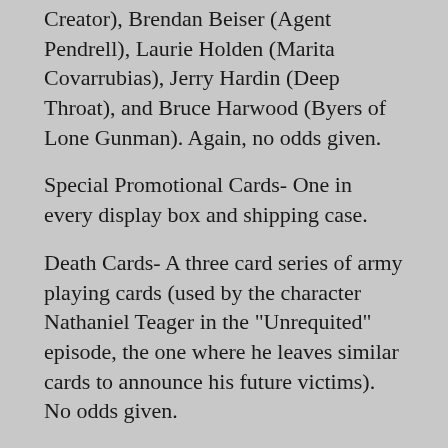Creator), Brendan Beiser (Agent Pendrell), Laurie Holden (Marita Covarrubias), Jerry Hardin (Deep Throat), and Bruce Harwood (Byers of Lone Gunman). Again, no odds given.
Special Promotional Cards- One in every display box and shipping case.
Death Cards- A three card series of army playing cards (used by the character Nathaniel Teager in the "Unrequited" episode, the one where he leaves similar cards to announce his future victims). No odds given.
This series retails at $3 per pack of nine cards (that's over .33 cents per card). There are only 24 packs per box. It